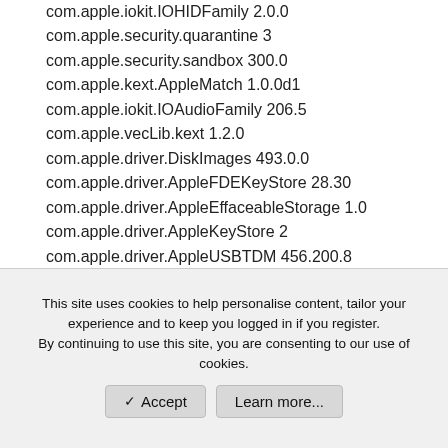com.apple.iokit.IOHIDFamily 2.0.0
com.apple.security.quarantine 3
com.apple.security.sandbox 300.0
com.apple.kext.AppleMatch 1.0.0d1
com.apple.iokit.IOAudioFamily 206.5
com.apple.vecLib.kext 1.2.0
com.apple.driver.DiskImages 493.0.0
com.apple.driver.AppleFDEKeyStore 28.30
com.apple.driver.AppleEffaceableStorage 1.0
com.apple.driver.AppleKeyStore 2
com.apple.driver.AppleUSBTDM 456.200.8
com.apple.driver.AppleMobileFileIntegrity 1.0.5
com.apple.kext.CoreTrust 1
com.apple.iokit.IOUSBMassStorageDriver 145.200.2
com.apple.iokit.IOSCSIBlockCommandsDevice 408.200.1
com.apple.iokit.IOSCSIArchitectureModelFamily 408.200.1
com.apple.iokit.IOStorageFamily 2.1
This site uses cookies to help personalise content, tailor your experience and to keep you logged in if you register.
By continuing to use this site, you are consenting to our use of cookies.